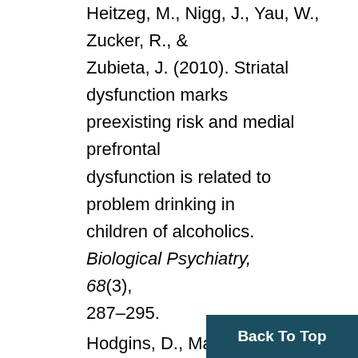Heitzeg, M., Nigg, J., Yau, W., Zucker, R., & Zubieta, J. (2010). Striatal dysfunction marks preexisting risk and medial prefrontal dysfunction is related to problem drinking in children of alcoholics. Biological Psychiatry, 68(3), 287–295.
Hodgins, D., Maticka-Tyndale, E., El-Guebaly, N., & West, M. (1993). The CAST-6: Development of a short-form of the Children of Alcoholics Screening Test. Addictive Behaviors, 18, 337–345.
Jones, A., Perera-Diltz, D., Salyers, M., Laux, J., & Cochrane, W. (2007). Testing hypoth… differences between adult children of alcoholics…